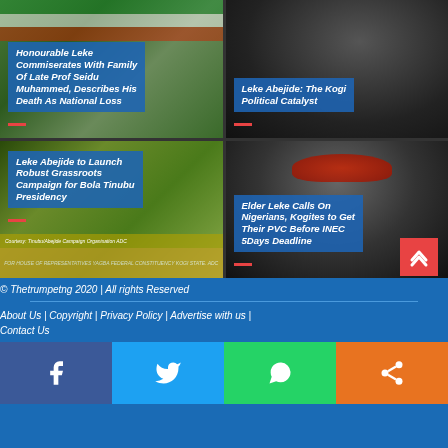[Figure (photo): News card: Honourable Leke Commiserates With Family Of Late Prof Seidu Muhammed, Describes His Death As National Loss]
[Figure (photo): News card: Leke Abejide: The Kogi Political Catalyst]
[Figure (photo): News card: Leke Abejide to Launch Robust Grassroots Campaign for Bola Tinubu Presidency]
[Figure (photo): News card: Elder Leke Calls On Nigerians, Kogites to Get Their PVC Before INEC 5Days Deadline]
© Thetrumpetng 2020 | All rights Reserved
About Us | Copyright | Privacy Policy | Advertise with us | Contact Us